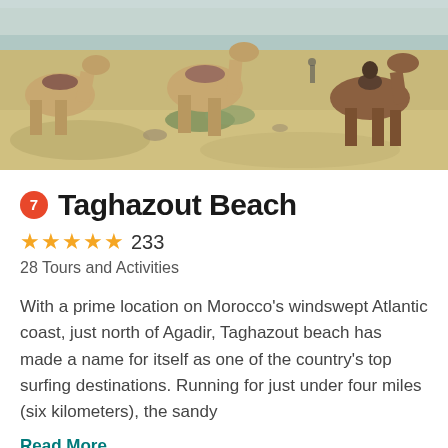[Figure (photo): Outdoor beach scene with camels and horses on sandy terrain near Morocco's Atlantic coast. Animals visible in foreground, rocky landscape with sparse vegetation in background.]
7 Taghazout Beach
★★★★★ 233
28 Tours and Activities
With a prime location on Morocco's windswept Atlantic coast, just north of Agadir, Taghazout beach has made a name for itself as one of the country's top surfing destinations. Running for just under four miles (six kilometers), the sandy
Read More